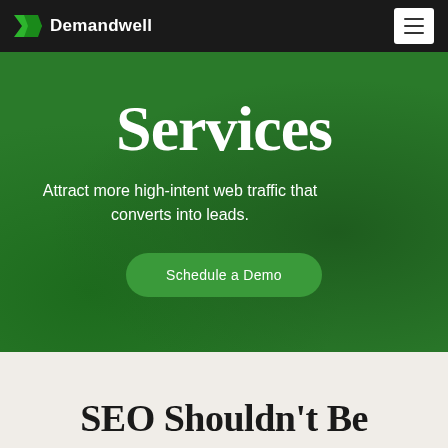Demandwell
Services
Attract more high-intent web traffic that converts into leads.
Schedule a Demo
SEO Shouldn't Be